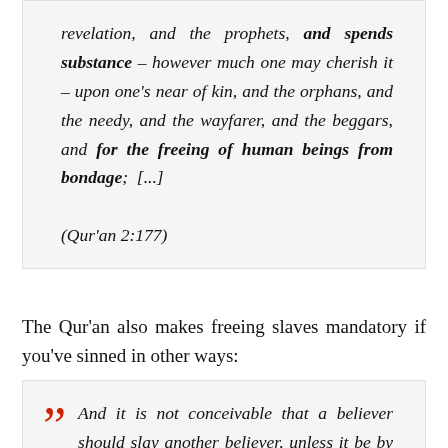revelation, and the prophets, and spends substance – however much one may cherish it – upon one's near of kin, and the orphans, and the needy, and the wayfarer, and the beggars, and for the freeing of human beings from bondage; [...] (Qur'an 2:177)
The Qur'an also makes freeing slaves mandatory if you've sinned in other ways:
And it is not conceivable that a believer should slay another believer, unless it be by mistake. And upon him who has slain a